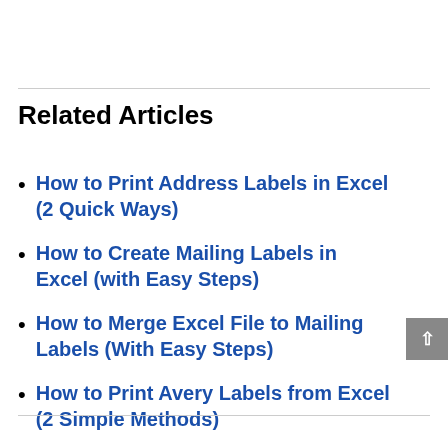Related Articles
How to Print Address Labels in Excel (2 Quick Ways)
How to Create Mailing Labels in Excel (with Easy Steps)
How to Merge Excel File to Mailing Labels (With Easy Steps)
How to Print Avery Labels from Excel (2 Simple Methods)